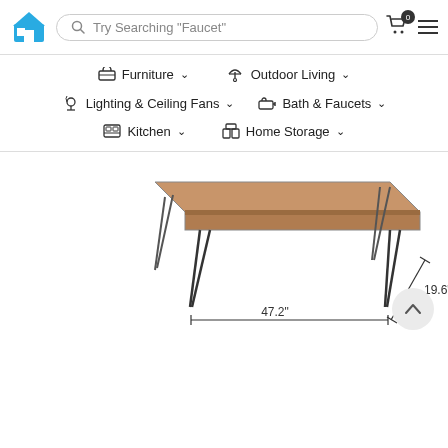[Figure (screenshot): Website header with house logo, search bar saying Try Searching "Faucet", cart icon with 0 badge, and hamburger menu icon]
[Figure (screenshot): Navigation menu with categories: Furniture, Outdoor Living, Lighting & Ceiling Fans, Bath & Faucets, Kitchen, Home Storage — each with dropdown arrows and icons]
[Figure (engineering-diagram): Product dimension diagram of a coffee table with hairpin legs, showing width measurement of 47.2 inches and depth measurement of 19.6 inches]